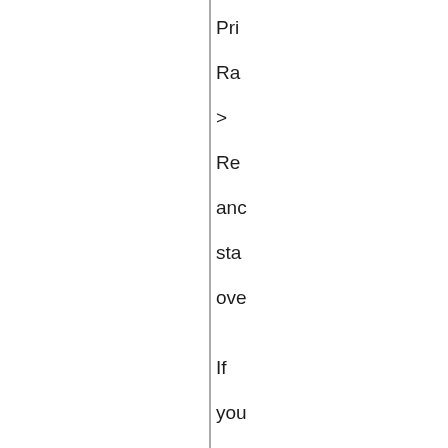Pri
Ra
>
Re
anc
sta
ove

If
you
nee
mu
prir
ran
it
mig
be
bes
to
cor
usir
one
of